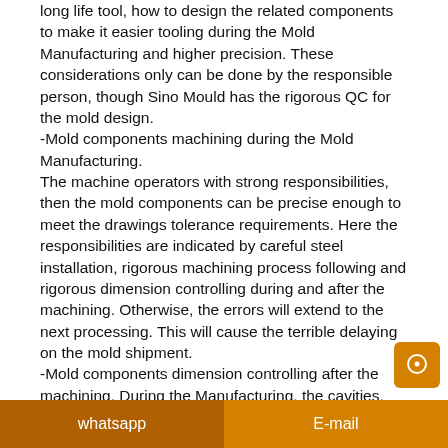long life tool, how to design the related components to make it easier tooling during the Mold Manufacturing and higher precision. These considerations only can be done by the responsible person, though Sino Mould has the rigorous QC for the mold design.
-Mold components machining during the Mold Manufacturing.
The machine operators with strong responsibilities, then the mold components can be precise enough to meet the drawings tolerance requirements. Here the responsibilities are indicated by careful steel installation, rigorous machining process following and rigorous dimension controlling during and after the machining. Otherwise, the errors will extend to the next processing. This will cause the terrible delaying on the mold shipment.
-Mold components dimension controlling after the machining. During the Manufacturing, the cavities, cores and other mold components, after the machining, they need
whatsapp   E-mail